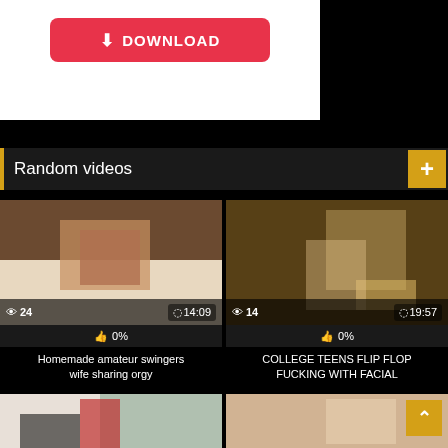[Figure (screenshot): Download button on white background, red pill-shaped button with download arrow icon and text DOWNLOAD]
Random videos
[Figure (screenshot): Video thumbnail - Homemade amateur swingers wife sharing orgy. Views: 24, Duration: 14:09, Likes: 0%]
Homemade amateur swingers wife sharing orgy
[Figure (screenshot): Video thumbnail - COLLEGE TEENS FLIP FLOP FUCKING WITH FACIAL. Views: 14, Duration: 19:57, Likes: 0%]
COLLEGE TEENS FLIP FLOP FUCKING WITH FACIAL
[Figure (screenshot): Video thumbnail row 2 left - partially visible]
[Figure (screenshot): Video thumbnail row 2 right - partially visible, back-to-top button overlay]